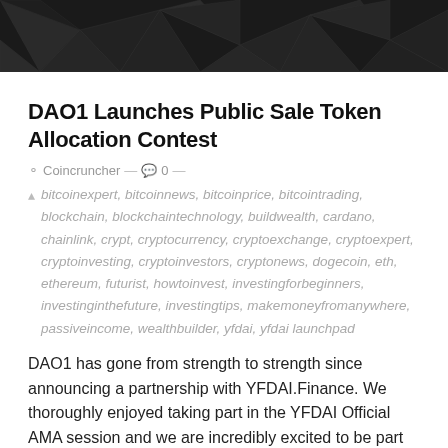[Figure (photo): Dark geometric/polygon abstract background image with dark grey triangular mesh pattern]
DAO1 Launches Public Sale Token Allocation Contest
Coincruncher — 💬 0 —
bitcoinexpert, bitcoinnews, bitcoinprice, bitcointrading, blockchain, blockchaintechnology, buildwealth, cardano, chainlink, crypt, cryptocurrency, cryptoexchange, cryptoexpert, cryptoinvesting, cryptoinvestors, cryptonews, dogecoin, eth, ethereum, futurist, howtoinvest, investingforbeginners, investinginthefuture, investingtips, makemoneyfromanywhere, passiveincome, wealthbuilder, yfdai, yfdai launchpad
DAO1 has gone from strength to strength since announcing a partnership with YFDAI.Finance. We thoroughly enjoyed taking part in the YFDAI Official AMA session and we are incredibly excited to be part of such a